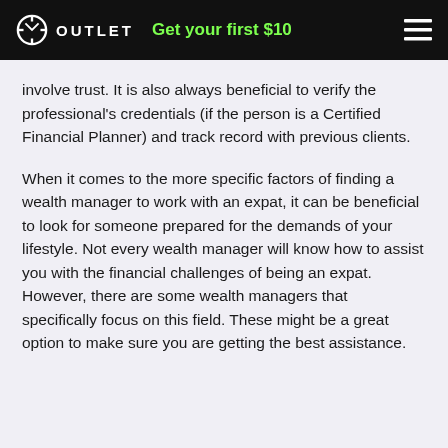OUTLET — Get your first $10
involve trust. It is also always beneficial to verify the professional's credentials (if the person is a Certified Financial Planner) and track record with previous clients.
When it comes to the more specific factors of finding a wealth manager to work with an expat, it can be beneficial to look for someone prepared for the demands of your lifestyle. Not every wealth manager will know how to assist you with the financial challenges of being an expat. However, there are some wealth managers that specifically focus on this field. These might be a great option to make sure you are getting the best assistance.